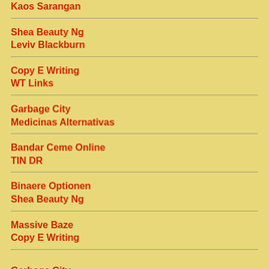Kaos Sarangan
Shea Beauty Ng
Leviv Blackburn
Copy E Writing
WT Links
Garbage City
Medicinas Alternativas
Bandar Ceme Online
TIN DR
Binaere Optionen
Shea Beauty Ng
Massive Baze
Copy E Writing
Garbage City